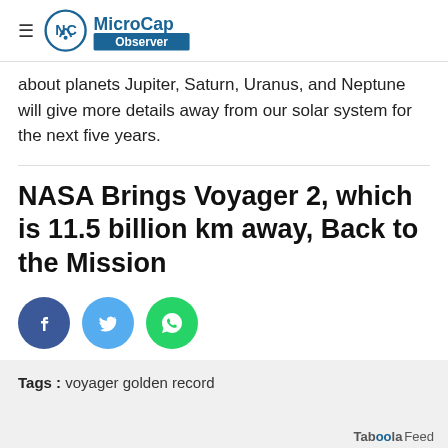MicroCap Observer
about planets Jupiter, Saturn, Uranus, and Neptune will give more details away from our solar system for the next five years.
NASA Brings Voyager 2, which is 11.5 billion km away, Back to the Mission
[Figure (other): Social share buttons: Facebook (dark blue circle with f icon), Twitter (light blue circle with bird icon), WhatsApp (green circle with phone icon)]
Tags :  voyager golden record
[Figure (logo): Taboola Feed logo in bottom right]